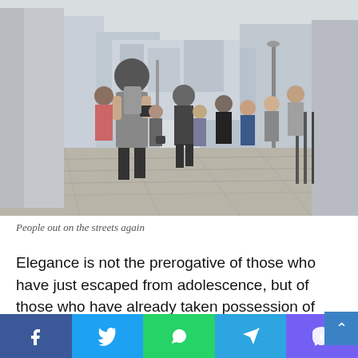[Figure (photo): Street photography showing a crowd of people walking along an urban sidewalk. A man with a camera and backpack walks in the foreground, with many other pedestrians behind him on a wide city street flanked by tall buildings.]
People out on the streets again
Elegance is not the prerogative of those who have just escaped from adolescence, but of those who have already taken possession of their future.
Fashion fosters cliches of beauty, but I want to tear the